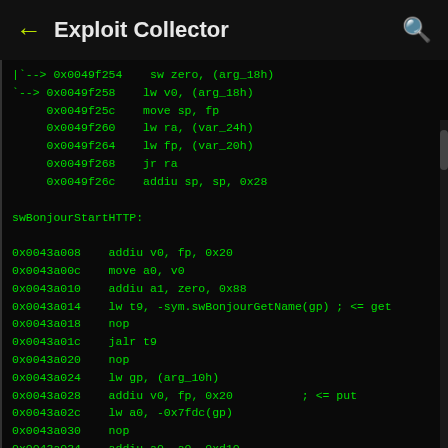← Exploit Collector
Disassembly code listing showing MIPS assembly instructions for swBonjourStartHTTP function and surrounding code, including addresses and opcodes such as sw zero, lw v0, move sp fp, lw ra, lw fp, jr ra, addiu sp, and various function calls like swBonjourGetName and cmCommand.